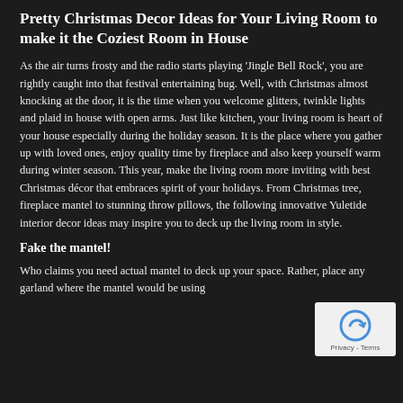Pretty Christmas Decor Ideas for Your Living Room to make it the Coziest Room in House
As the air turns frosty and the radio starts playing 'Jingle Bell Rock', you are rightly caught into that festival entertaining bug. Well, with Christmas almost knocking at the door, it is the time when you welcome glitters, twinkle lights and plaid in house with open arms. Just like kitchen, your living room is heart of your house especially during the holiday season. It is the place where you gather up with loved ones, enjoy quality time by fireplace and also keep yourself warm during winter season. This year, make the living room more inviting with best Christmas décor that embraces spirit of your holidays. From Christmas tree, fireplace mantel to stunning throw pillows, the following innovative Yuletide interior decor ideas may inspire you to deck up the living room in style.
Fake the mantel!
Who claims you need actual mantel to deck up your space. Rather, place any garland where the mantel would be using